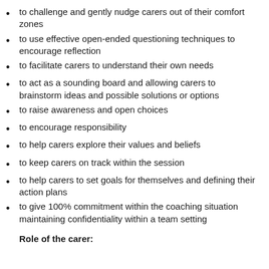to challenge and gently nudge carers out of their comfort zones
to use effective open-ended questioning techniques to encourage reflection
to facilitate carers to understand their own needs
to act as a sounding board and allowing carers to brainstorm ideas and possible solutions or options
to raise awareness and open choices
to encourage responsibility
to help carers explore their values and beliefs
to keep carers on track within the session
to help carers to set goals for themselves and defining their action plans
to give 100% commitment within the coaching situation maintaining confidentiality within a team setting
Role of the carer: